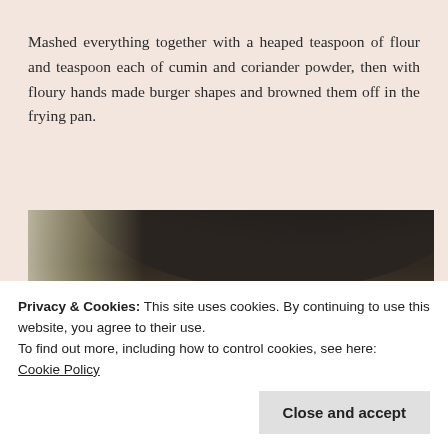Mashed everything together with a heaped teaspoon of flour and teaspoon each of cumin and coriander powder, then with floury hands made burger shapes and browned them off in the frying pan.
[Figure (photo): A food photo showing a frying pan with a spiced veggie burger/patty being cooked, with some white/yellow food items visible on the left side of the image.]
Privacy & Cookies: This site uses cookies. By continuing to use this website, you agree to their use.
To find out more, including how to control cookies, see here:
Cookie Policy